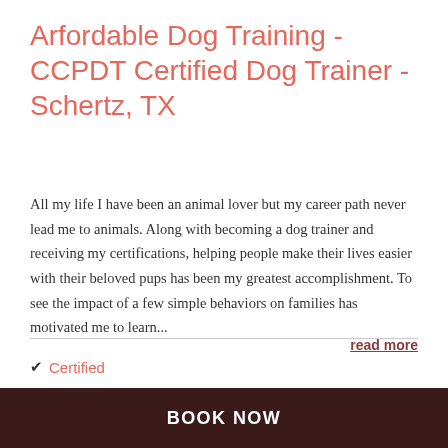Arfordable Dog Training - CCPDT Certified Dog Trainer - Schertz, TX
All my life I have been an animal lover but my career path never lead me to animals. Along with becoming a dog trainer and receiving my certifications, helping people make their lives easier with their beloved pups has been my greatest accomplishment. To see the impact of a few simple behaviors on families has motivated me to learn…
read more
✔ Certified
$60 PER HOUR
BOOK NOW